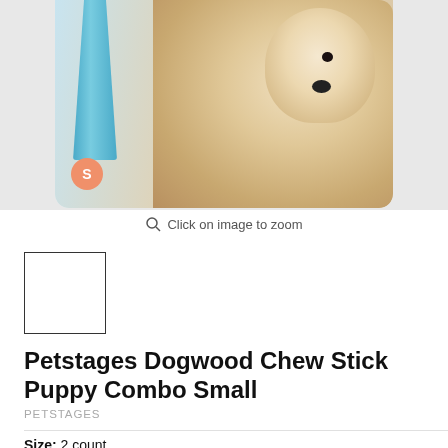[Figure (photo): Product photo showing blue Petstages Dogwood chew stick toy next to a fluffy white/beige puppy dog, with an orange 'S' seller badge overlay in the bottom left.]
Click on image to zoom
[Figure (photo): Small thumbnail image box with border outline (empty/placeholder).]
Petstages Dogwood Chew Stick Puppy Combo Small
PETSTAGES
Size: 2 count